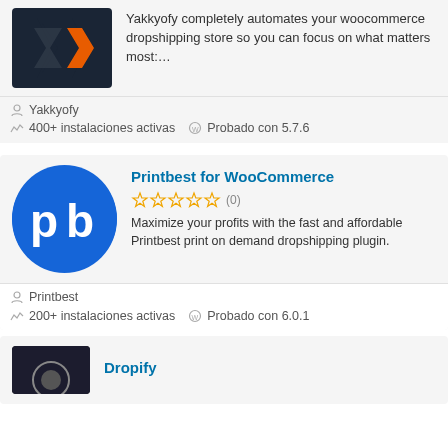[Figure (logo): Yakkyofy logo: dark navy background with orange arrow/chevron shape]
Yakkyofy completely automates your woocommerce dropshipping store so you can focus on what matters most:…
Yakkyofy
400+ instalaciones activas
Probado con 5.7.6
[Figure (logo): Printbest logo: blue circle with 'pb' letters in white]
Printbest for WooCommerce
☆☆☆☆☆ (0)
Maximize your profits with the fast and affordable Printbest print on demand dropshipping plugin.
Printbest
200+ instalaciones activas
Probado con 6.0.1
[Figure (logo): Dropify logo: partial view at bottom]
Dropify